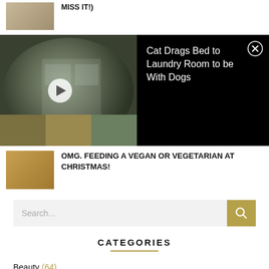MISS IT!)
[Figure (screenshot): Video overlay with fisheye lens camera footage of laundry room with dogs, play button visible. Dark panel on right with title text.]
Cat Drags Bed to Laundry Room to be With Dogs
OMG. FEEDING A VEGAN OR VEGETARIAN AT CHRISTMAS!
Search...
CATEGORIES
Beauty (64)
Featured (177)